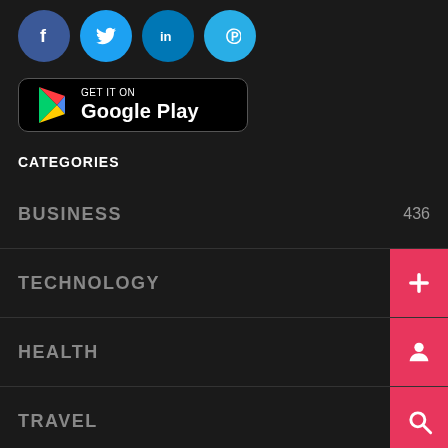[Figure (infographic): Social media icons: Facebook (blue circle with f), Twitter (light blue circle with bird), LinkedIn (blue circle with in), Pinterest (light blue circle with p)]
[Figure (infographic): Google Play Store badge: black rounded rectangle with Google Play triangle logo and text GET IT ON / Google Play]
CATEGORIES
BUSINESS 436
TECHNOLOGY
HEALTH
TRAVEL
PHOTOGRAPHY 56